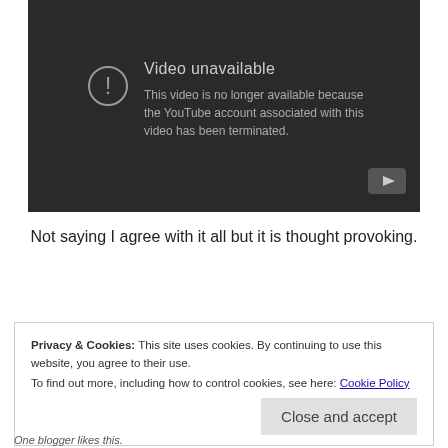[Figure (screenshot): YouTube embedded video player showing 'Video unavailable' error message: 'This video is no longer available because the YouTube account associated with this video has been terminated.' with a warning icon and YouTube logo button.]
Not saying I agree with it all but it is thought provoking.
Privacy & Cookies: This site uses cookies. By continuing to use this website, you agree to their use.
To find out more, including how to control cookies, see here: Cookie Policy
Close and accept
One blogger likes this.